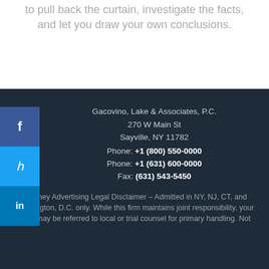to pull back the curtain, investigate the facts, and let you draw your own conclusions.
Gacovino, Lake & Associates, P.C.
270 W Main St
Sayville, NY 11782
Phone: +1 (800) 550-0000
Phone: +1 (631) 600-0000
Fax: (631) 543-5450
Attorney Advertising Legal Disclaimer – Admitted in NY, NJ, CT, and Washington, D.C. only. While this firm maintains joint responsibility, your case may be referred to local or trial counsel for primary handling. Not